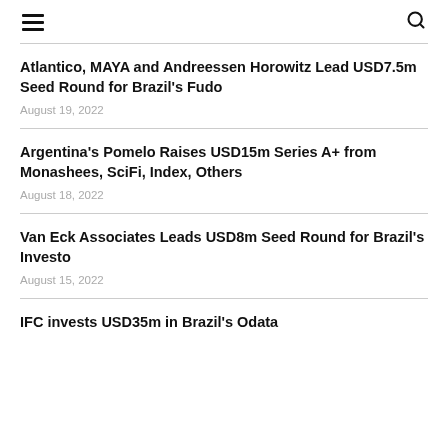≡  🔍
Atlantico, MAYA and Andreessen Horowitz Lead USD7.5m Seed Round for Brazil's Fudo
August 19, 2022
Argentina's Pomelo Raises USD15m Series A+ from Monashees, SciFi, Index, Others
August 18, 2022
Van Eck Associates Leads USD8m Seed Round for Brazil's Investo
August 15, 2022
IFC invests USD35m in Brazil's Odata